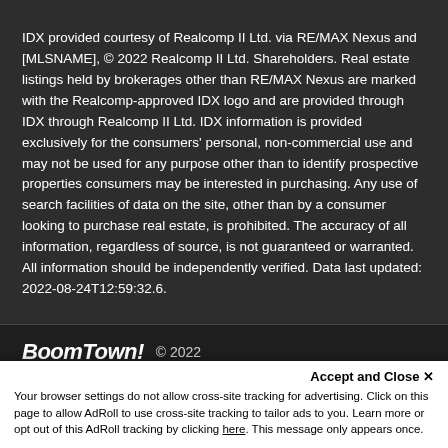IDX provided courtesy of Realcomp II Ltd. via RE/MAX Nexus and [MLSNAME], © 2022 Realcomp II Ltd. Shareholders. Real estate listings held by brokerages other than RE/MAX Nexus are marked with the Realcomp-approved IDX logo and are provided through IDX through Realcomp II Ltd. IDX information is provided exclusively for the consumers' personal, non-commercial use and may not be used for any purpose other than to identify prospective properties consumers may be interested in purchasing. Any use of search facilities of data on the site, other than by a consumer looking to purchase real estate, is prohibited. The accuracy of all information, regardless of source, is not guaranteed or warranted. All information should be independently verified. Data last updated: 2022-08-24T12:59:32.6.
BoomTown! © 2022
Terms of Use | Privacy Policy | Accessibility | DMCA
Accept and Close ✕
Your browser settings do not allow cross-site tracking for advertising. Click on this page to allow AdRoll to use cross-site tracking to tailor ads to you. Learn more or opt out of this AdRoll tracking by clicking here. This message only appears once.